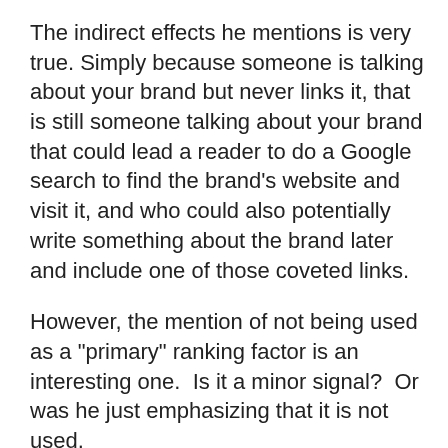The indirect effects he mentions is very true. Simply because someone is talking about your brand but never links it, that is still someone talking about your brand that could lead a reader to do a Google search to find the brand's website and visit it, and who could also potentially write something about the brand later and include one of those coveted links.
However, the mention of not being used as a "primary" ranking factor is an interesting one.  Is it a minor signal?  Or was he just emphasizing that it is not used.
Another question takes this a bit further and directly asks whether Google is making any association with unlinked brand mentions and a